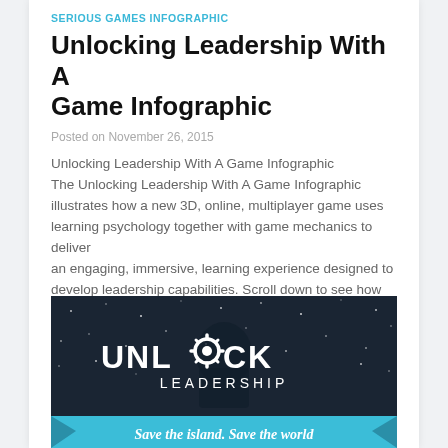SERIOUS GAMES INFOGRAPHIC
Unlocking Leadership With A Game Infographic
Posted on November 26, 2015
Unlocking Leadership With A Game Infographic
The Unlocking Leadership With A Game Infographic illustrates how a new 3D, online, multiplayer game uses learning psychology together with game mechanics to deliver an engaging, immersive, learning experience designed to develop leadership capabilities. Scroll down to see how the narrative unravels; After a raging storm, you (the player), find [...]
[Figure (infographic): Dark space/night-sky background infographic with white bold text reading UNLOCK LEADERSHIP (with a gear/cog icon replacing the O in UNLOCK), and a light blue banner at the bottom with italic script text reading 'Save the island. Save the world']